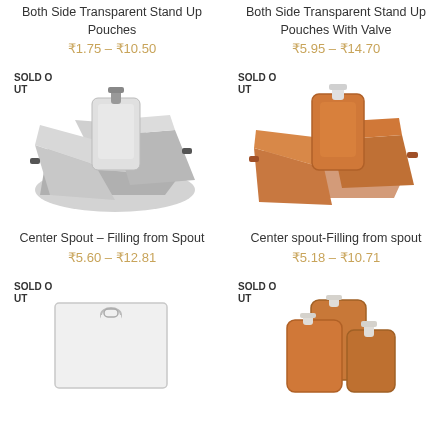Both Side Transparent Stand Up Pouches
₹1.75 – ₹10.50
Both Side Transparent Stand Up Pouches With Valve
₹5.95 – ₹14.70
SOLD OUT
[Figure (photo): Silver/metallic stand-up pouches with spouts]
Center Spout – Filling from Spout
₹5.60 – ₹12.81
SOLD OUT
[Figure (photo): Brown/tan stand-up pouches with spouts]
Center spout-Filling from spout
₹5.18 – ₹10.71
SOLD OUT
[Figure (photo): White flat hanging pouch with hole]
SOLD OUT
[Figure (photo): Brown/tan spout pouches]